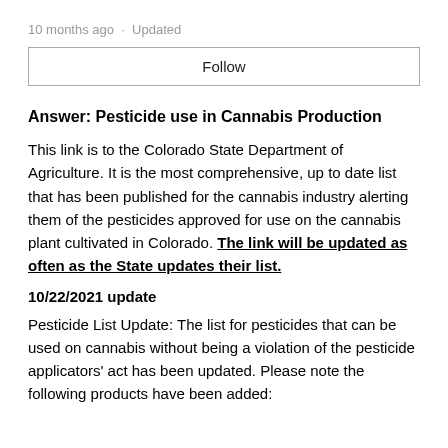10 months ago · Updated
Follow
Answer: Pesticide use in Cannabis Production
This link is to the Colorado State Department of Agriculture. It is the most comprehensive, up to date list that has been published for the cannabis industry alerting them of the pesticides approved for use on the cannabis plant cultivated in Colorado. The link will be updated as often as the State updates their list.
10/22/2021 update
Pesticide List Update: The list for pesticides that can be used on cannabis without being a violation of the pesticide applicators' act has been updated. Please note the following products have been added: